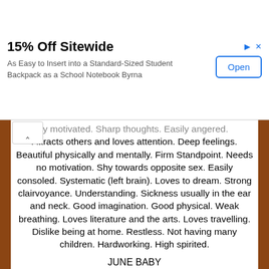[Figure (screenshot): Advertisement banner: '15% Off Sitewide' with subtitle 'As Easy to Insert into a Standard-Sized Student Backpack as a School Notebook Byrna' and an 'Open' button on the right side]
...ly motivated. Sharp thoughts. Easily angered. Attracts others and loves attention. Deep feelings. Beautiful physically and mentally. Firm Standpoint. Needs no motivation. Shy towards opposite sex. Easily consoled. Systematic (left brain). Loves to dream. Strong clairvoyance. Understanding. Sickness usually in the ear and neck. Good imagination. Good physical. Weak breathing. Loves literature and the arts. Loves travelling. Dislike being at home. Restless. Not having many children. Hardworking. High spirited.
JUNE BABY
You've got the best personality and are an absolute pleasure to be around. You love to make new friends and be outgoing. You are a great flirt and...